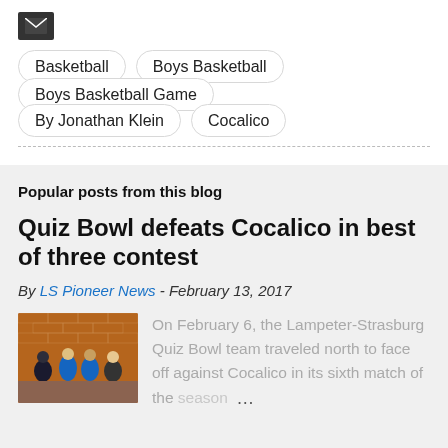[Figure (other): Email/envelope icon button (dark background)]
Basketball
Boys Basketball
Boys Basketball Game
By Jonathan Klein
Cocalico
Popular posts from this blog
Quiz Bowl defeats Cocalico in best of three contest
By LS Pioneer News - February 13, 2017
[Figure (photo): Group photo of students in front of a brick wall]
On February 6, the Lampeter-Strasburg Quiz Bowl team traveled north to face off against Cocalico in its sixth match of the season...